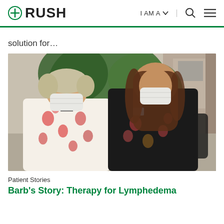RUSH | I AM A | [search] [menu]
solution for…
[Figure (photo): Two women wearing face masks standing together indoors near a large plant. The woman on the left is wearing a floral print top and has glasses hanging around her neck. The woman on the right is wearing a black floral dress and has long brown hair. They appear to be at a medical facility.]
Patient Stories
Barb's Story: Therapy for Lymphedema